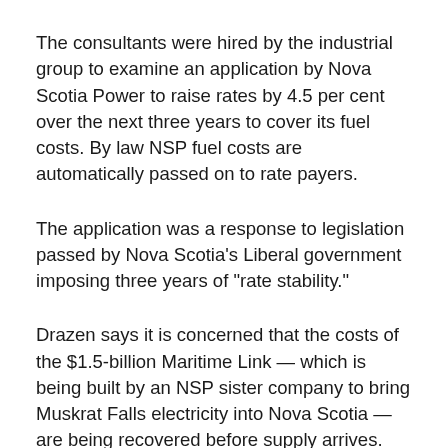The consultants were hired by the industrial group to examine an application by Nova Scotia Power to raise rates by 4.5 per cent over the next three years to cover its fuel costs. By law NSP fuel costs are automatically passed on to rate payers.
The application was a response to legislation passed by Nova Scotia's Liberal government imposing three years of "rate stability."
Drazen says it is concerned that the costs of the $1.5-billion Maritime Link — which is being built by an NSP sister company to bring Muskrat Falls electricity into Nova Scotia — are being recovered before supply arrives.
Consultants hired by the Nova Scotia Utility and Review